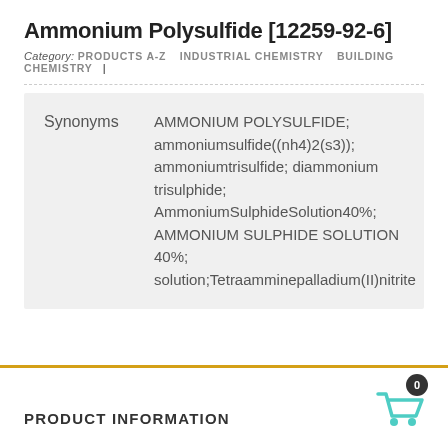Ammonium Polysulfide [12259-92-6]
Category: PRODUCTS A-Z   INDUSTRIAL CHEMISTRY   BUILDING CHEMISTRY   |
|  |  |
| --- | --- |
| Synonyms | AMMONIUM POLYSULFIDE; ammoniumsulfide((nh4)2(s3)); ammoniumtrisulfide; diammonium trisulphide; AmmoniumSulphideSolution40%; AMMONIUM SULPHIDE SOLUTION 40%; solution;Tetraamminepalladium(II)nitrite |
PRODUCT INFORMATION